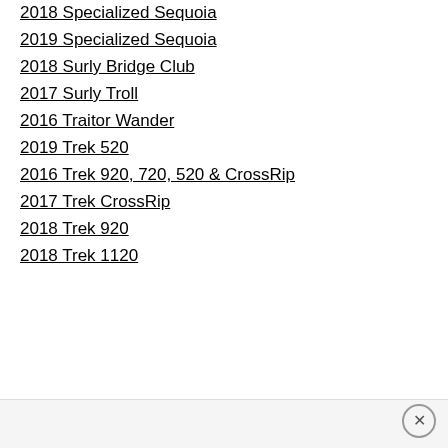2018 Specialized Sequoia
2019 Specialized Sequoia
2018 Surly Bridge Club
2017 Surly Troll
2016 Traitor Wander
2019 Trek 520
2016 Trek 920, 720, 520 & CrossRip
2017 Trek CrossRip
2018 Trek 920
2018 Trek 1120